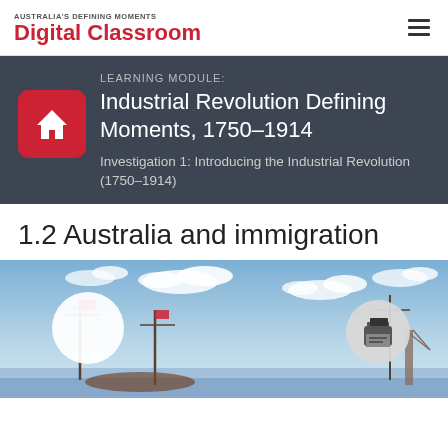AUSTRALIA'S DEFINING MOMENTS Digital Classroom
LEARNING MODULE:
Industrial Revolution Defining Moments, 1750–1914
Investigation 1: Introducing the Industrial Revolution (1750–1914)
1.2 Australia and immigration
[Figure (illustration): Harbour painting with ships, flags, and a blue sky with white clouds. A white circle button appears on the left and a print button circle on the right.]